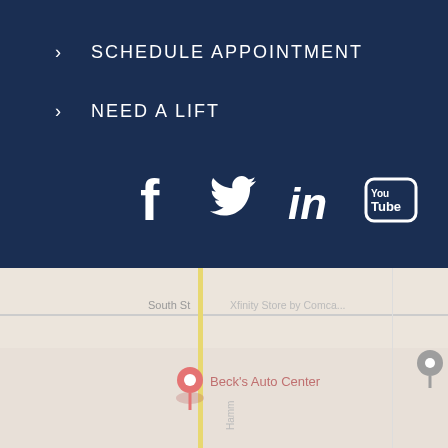SCHEDULE APPOINTMENT
NEED A LIFT
[Figure (infographic): Social media icons: Facebook, Twitter, LinkedIn, YouTube — white icons on dark navy background]
[Figure (map): Google Maps snippet showing South St, Beck's Auto Center pin, Xfinity Store by Comcast label, Century Pl street]